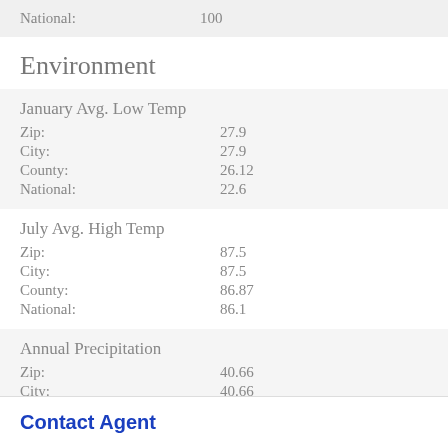|  |  |
| --- | --- |
| National: | 100 |
Environment
| January Avg. Low Temp |  |
| --- | --- |
| Zip: | 27.9 |
| City: | 27.9 |
| County: | 26.12 |
| National: | 22.6 |
| July Avg. High Temp |  |
| --- | --- |
| Zip: | 87.5 |
| City: | 87.5 |
| County: | 86.87 |
| National: | 86.1 |
| Annual Precipitation |  |
| --- | --- |
| Zip: | 40.66 |
| City: | 40.66 |
| County: | 41.57 |
Contact Agent